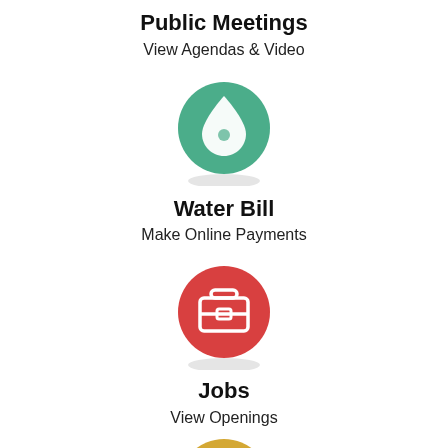Public Meetings
View Agendas & Video
[Figure (illustration): Green circle with white water drop icon]
Water Bill
Make Online Payments
[Figure (illustration): Red circle with white briefcase/jobs icon]
Jobs
View Openings
[Figure (illustration): Gold/yellow circle partially visible at bottom, with white search/magnifier icon]